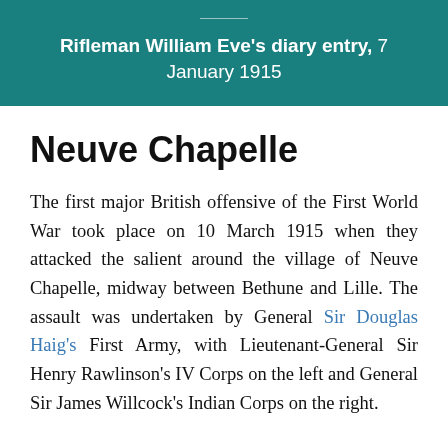Rifleman William Eve's diary entry, 7 January 1915
Neuve Chapelle
The first major British offensive of the First World War took place on 10 March 1915 when they attacked the salient around the village of Neuve Chapelle, midway between Bethune and Lille. The assault was undertaken by General Sir Douglas Haig's First Army, with Lieutenant-General Sir Henry Rawlinson's IV Corps on the left and General Sir James Willcock's Indian Corps on the right.